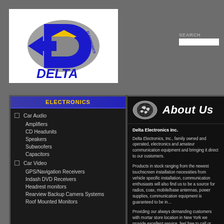[Figure (logo): Delta Electronics logo with blue bold D shape, yellow accent, grey oval, and blue arrow pointing left, with 'DELTA' text in blue below and 'ELECTRONICS' text on the right side arc]
SEARCH
ELECTRONICS
Car Audio
Amplifiers
CD Headunits
Speakers
Subwoofers
Capacitors
Car Video
GPS/Navigation Receivers
Indash DVD Receivers
Headrest monitors
Rearview Backup Camera Systems
Roof Mounted Monitors
[Figure (illustration): Globe/world map icon in silver oval frame next to 'About Us' heading in white italic bold text on black background]
Delta Electronics Inc.
Delta Electronics, Inc., family owned and operated, electronics and amateur communication equipment and bringing it direct to our customers.
Products in stock ranging from the newest touchscreen installation necessities from vehicle specific installation, communication enthusiasts will also find us to be a source for radios, coax, mobile/base antennas, power supplies, communication equipment is guaranteed to be in...
Providing our always demanding customers with mortar store location in New York we provide excellent service, feel free to call or send an email for any inform...